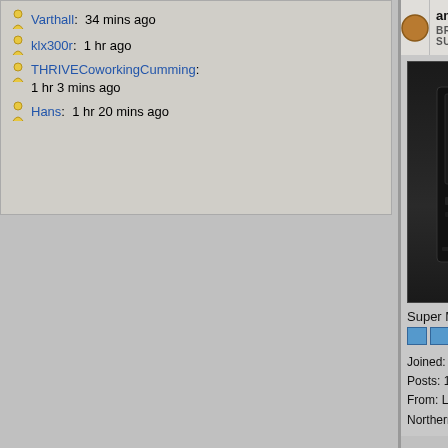Varthall: 34 mins ago
klx300r: 1 hr ago
THRIVECoworkingCumming: 1 hr 3 mins ago
Hans: 1 hr 20 mins ago
amigadave
BRONZE SUPPORTER
Posted on 8-Jun-2012 23:25:24
[Figure (photo): Black tower computer case]
Super Member
Joined: 18-Jul-2005
Posts: 1731
From: Lake Shastina, Northern Calif.
Congratulations to all of the MorphOS Development Team for this milestone accomplishment!

This is a huge release jump from the previous MorphOS2.7 release and includes many new features and improvements. Of course, the one feature that is most notable is the support for a few of the Apple PowerBook models, which gives MorphOS users their first chance to experience on a portable PowerPC compatible computer platform.

Let me know if it is Champagne or Beer that you Development Team members want to celebrate with, and where I can send them to, so you can all go out and have at least one drink on me!

Edit: (posted from my X1000 wirelessly, using my NetGear WNCE2001-100NAR connected to my WLAN and the X1000 (PCI card) Ethernet port.)

Last edited by amigadave on ... at 11:27 PM